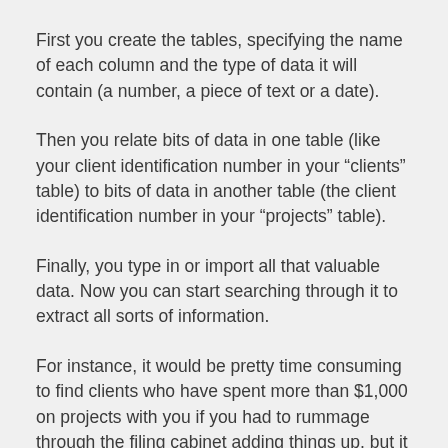First you create the tables, specifying the name of each column and the type of data it will contain (a number, a piece of text or a date).
Then you relate bits of data in one table (like your client identification number in your “clients” table) to bits of data in another table (the client identification number in your “projects” table).
Finally, you type in or import all that valuable data. Now you can start searching through it to extract all sorts of information.
For instance, it would be pretty time consuming to find clients who have spent more than $1,000 on projects with you if you had to rummage through the filing cabinet adding things up, but it would be almost instantaneous with database software.